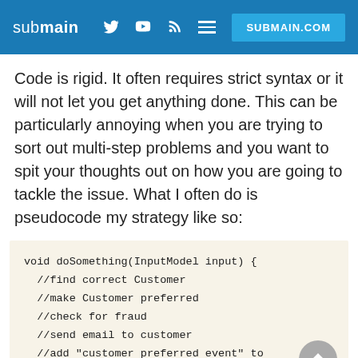submain SUBMAIN.COM
Code is rigid. It often requires strict syntax or it will not let you get anything done. This can be particularly annoying when you are trying to sort out multi-step problems and you want to spit your thoughts out on how you are going to tackle the issue. What I often do is pseudocode my strategy like so:
void doSomething(InputModel input) {
  //find correct Customer
  //make Customer preferred
  //check for fraud
  //send email to customer
  //add "customer preferred event" to
logging context